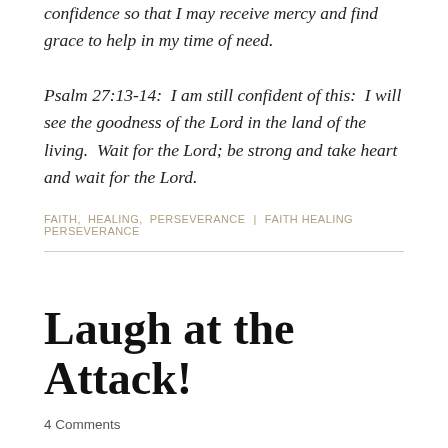confidence so that I may receive mercy and find grace to help in my time of need.
Psalm 27:13-14:  I am still confident of this:  I will see the goodness of the Lord in the land of the living.  Wait for the Lord; be strong and take heart and wait for the Lord.
FAITH,  HEALING,  PERSEVERANCE  |  FAITH HEALING PERSEVERANCE
Laugh at the Attack!
4 Comments
October 1, 2019 (Post #12)